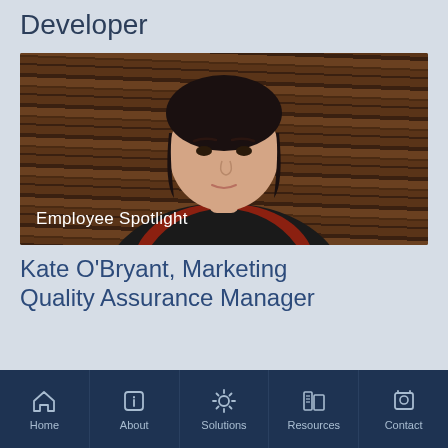Developer
[Figure (photo): Professional headshot of a woman in front of a wood-panel background, with 'Employee Spotlight' text overlay]
Kate O'Bryant, Marketing Quality Assurance Manager
Home  About  Solutions  Resources  Contact